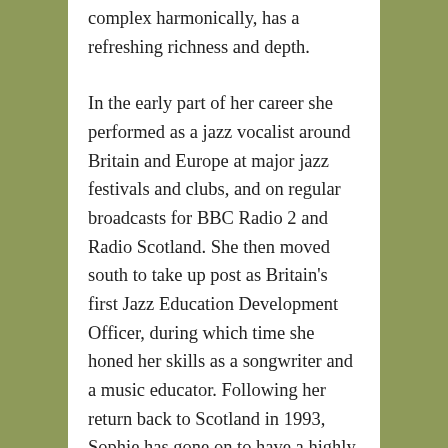complex harmonically, has a refreshing richness and depth.
In the early part of her career she performed as a jazz vocalist around Britain and Europe at major jazz festivals and clubs, and on regular broadcasts for BBC Radio 2 and Radio Scotland. She then moved south to take up post as Britain's first Jazz Education Development Officer, during which time she honed her skills as a songwriter and a music educator. Following her return back to Scotland in 1993, Sophie has gone on to have a highly successful career as a singer-